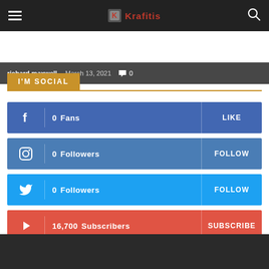Krafitis
richard maxwell - March 13, 2021   0
I'M SOCIAL
0  Fans   LIKE
0  Followers   FOLLOW
0  Followers   FOLLOW
16,700  Subscribers   SUBSCRIBE